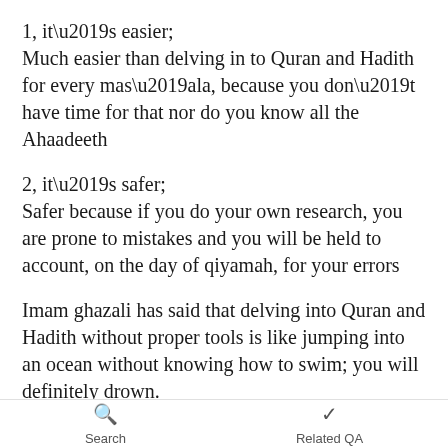1, it’s easier;
Much easier than delving in to Quran and Hadith for every mas’ala, because you don’t have time for that nor do you know all the Ahaadeeth
2, it’s safer;
Safer because if you do your own research, you are prone to mistakes and you will be held to account, on the day of qiyamah, for your errors
Imam ghazali has said that delving into Quran and Hadith without proper tools is like jumping into an ocean without knowing how to swim; you will definitely drown.
About the sect thing, ask him does he not call himself a salafi? That is also a sect. And prophet sallallahu alayhi
Search    Related QA